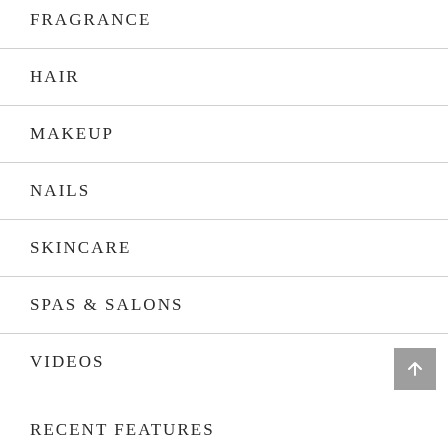FRAGRANCE
HAIR
MAKEUP
NAILS
SKINCARE
SPAS & SALONS
VIDEOS
RECENT FEATURES